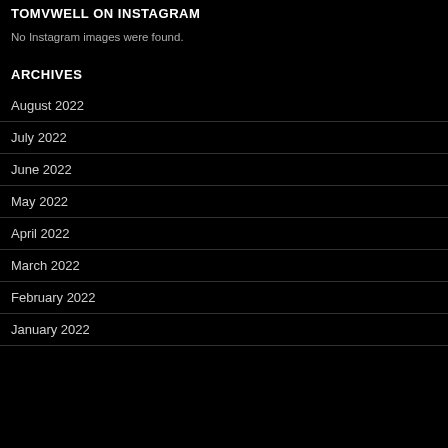TOMVWELL ON INSTAGRAM
No Instagram images were found.
ARCHIVES
August 2022
July 2022
June 2022
May 2022
April 2022
March 2022
February 2022
January 2022